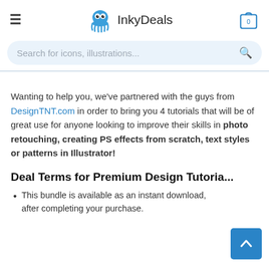InkyDeals
Search for icons, illustrations...
Wanting to help you, we've partnered with the guys from DesignTNT.com in order to bring you 4 tutorials that will be of great use for anyone looking to improve their skills in photo retouching, creating PS effects from scratch, text styles or patterns in Illustrator!
Deal Terms for Premium Design Tutori...
This bundle is available as an instant download, after completing your purchase.